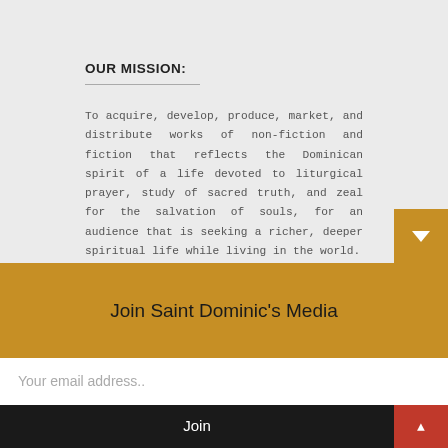OUR MISSION:
To acquire, develop, produce, market, and distribute works of non-fiction and fiction that reflects the Dominican spirit of a life devoted to liturgical prayer, study of sacred truth, and zeal for the salvation of souls, for an audience that is seeking a richer, deeper spiritual life while living in the world.
We seek to do all things Deum verum, for the truth of God.
CONTACT US:
Join Saint Dominic's Media
Your email address..
Join